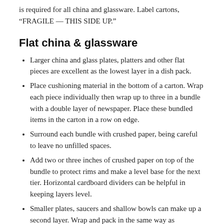is required for all china and glassware. Label cartons, “FRAGILE — THIS SIDE UP.”
Flat china & glassware
Larger china and glass plates, platters and other flat pieces are excellent as the lowest layer in a dish pack.
Place cushioning material in the bottom of a carton. Wrap each piece individually then wrap up to three in a bundle with a double layer of newspaper. Place these bundled items in the carton in a row on edge.
Surround each bundle with crushed paper, being careful to leave no unfilled spaces.
Add two or three inches of crushed paper on top of the bundle to protect rims and make a level base for the next tier. Horizontal cardboard dividers can be helpful in keeping layers level.
Smaller plates, saucers and shallow bowls can make up a second layer. Wrap and pack in the same way as